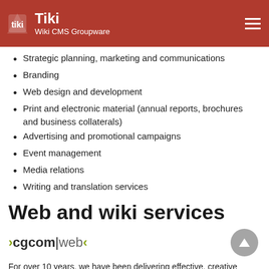Tiki Wiki CMS Groupware
Strategic planning, marketing and communications
Branding
Web design and development
Print and electronic material (annual reports, brochures and business collaterals)
Advertising and promotional campaigns
Event management
Media relations
Writing and translation services
Web and wiki services
[Figure (logo): cgcom|web logo with chevron arrows in olive/green color]
For over 10 years, we have been delivering effective, creative